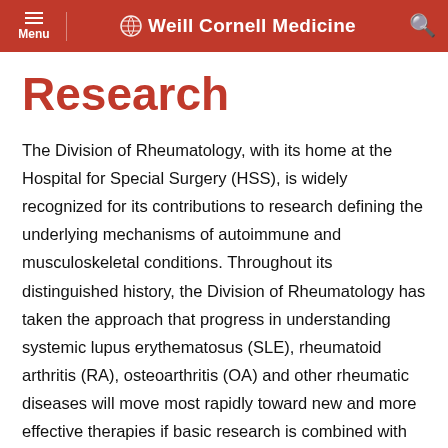Weill Cornell Medicine
Research
The Division of Rheumatology, with its home at the Hospital for Special Surgery (HSS), is widely recognized for its contributions to research defining the underlying mechanisms of autoimmune and musculoskeletal conditions. Throughout its distinguished history, the Division of Rheumatology has taken the approach that progress in understanding systemic lupus erythematosus (SLE), rheumatoid arthritis (RA), osteoarthritis (OA) and other rheumatic diseases will move most rapidly toward new and more effective therapies if basic research is combined with research driven by the patient. Through its basic and clinical research programs, patient registries and disease-targeted Centers of Excellence, the Division of Rheumatology is well organized for multidisciplinary